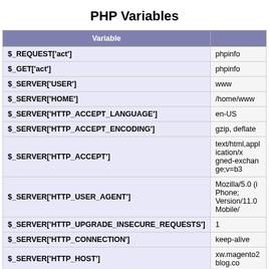PHP Variables
| Variable |  |
| --- | --- |
| $_REQUEST['act'] | phpinfo |
| $_GET['act'] | phpinfo |
| $_SERVER['USER'] | www |
| $_SERVER['HOME'] | /home/www |
| $_SERVER['HTTP_ACCEPT_LANGUAGE'] | en-US |
| $_SERVER['HTTP_ACCEPT_ENCODING'] | gzip, deflate |
| $_SERVER['HTTP_ACCEPT'] | text/html,application/xhtml+xml,application/xml;q=0.9,image/webp,image/apng,*/*;q=0.8,application/si gned-exchange;v=b3 |
| $_SERVER['HTTP_USER_AGENT'] | Mozilla/5.0 (iPhone; CPU iPhone OS 11_0 like Mac OS X) AppleWebKit/604.1.38 (KHTML, like Gecko) Version/11.0 Mobile/15A372 Safari/604.1 |
| $_SERVER['HTTP_UPGRADE_INSECURE_REQUESTS'] | 1 |
| $_SERVER['HTTP_CONNECTION'] | keep-alive |
| $_SERVER['HTTP_HOST'] | xw.magento2blog.com |
| $_SERVER['PHP_ADMIN_VALUE'] | open_basedir=/home/... |
| $_SERVER['REDIRECT_STATUS'] | 200 |
| $_SERVER['SERVER_NAME'] | _ |
| $_SERVER['SERVER_PORT'] | 80 |